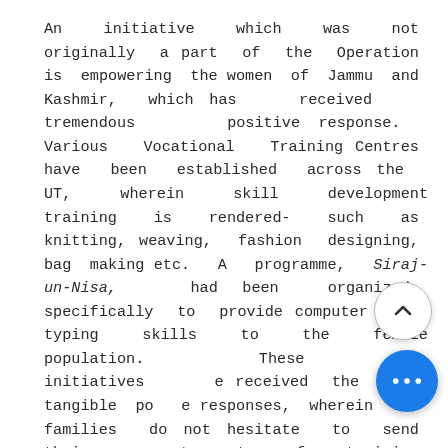An initiative which was not originally a part of the Operation is empowering the women of Jammu and Kashmir, which has received tremendous positive response. Various Vocational Training Centres have been established across the UT, wherein skill development training is rendered- such as knitting, weaving, fashion designing, bag making etc. A programme, Siraj-un-Nisa, had been organized, specifically to provide computer and typing skills to the female population. These initiatives have received the most tangible positive responses, wherein the families do not hesitate to send their women to the centres for training and learning, and them is an ease with which the women